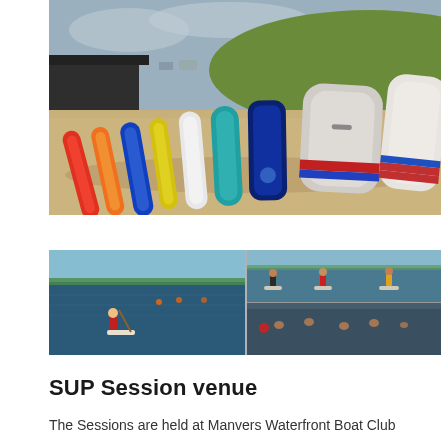[Figure (photo): Multiple SUP (stand-up paddleboard) boards of various colors (red, orange, yellow, blue, white, grey) laid out on a sandy ground with a grassy hill and cloudy sky in the background]
[Figure (photo): Composite of three water activity photos showing people on stand-up paddleboards on a lake or reservoir: left image shows one person in red on a SUP board with buoys in background; top-right shows three people on SUP boards; bottom-right shows swimmers in dark water]
SUP Session venue
The Sessions are held at Manvers Waterfront Boat Club